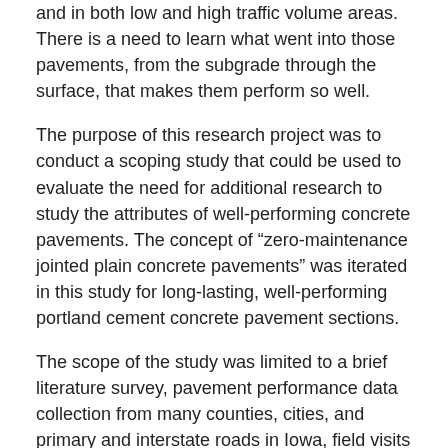and in both low and high traffic volume areas. There is a need to learn what went into those pavements, from the subgrade through the surface, that makes them perform so well.
The purpose of this research project was to conduct a scoping study that could be used to evaluate the need for additional research to study the attributes of well-performing concrete pavements. The concept of “zero-maintenance jointed plain concrete pavements” was iterated in this study for long-lasting, well-performing portland cement concrete pavement sections.
The scope of the study was limited to a brief literature survey, pavement performance data collection from many counties, cities, and primary and interstate roads in Iowa, field visits to many selected pavement sites, and analysis of the collected data. No laboratory or field testing was conducted for this phase of the project. A problem statement with a research plan was created that could be